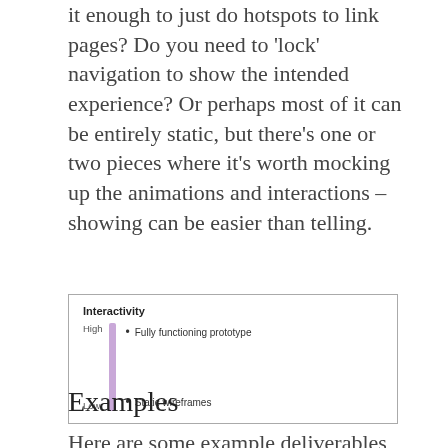it enough to just do hotspots to link pages? Do you need to 'lock' navigation to show the intended experience? Or perhaps most of it can be entirely static, but there's one or two pieces where it's worth mocking up the animations and interactions – showing can be easier than telling.
[Figure (infographic): Interactivity scale diagram showing a vertical axis with 'High' at top and 'Low' at bottom, a purple vertical bar, and two bullet points: 'Fully functioning prototype' at high end and 'Static wireframes' at low end.]
Examples
Here are some example deliverables,